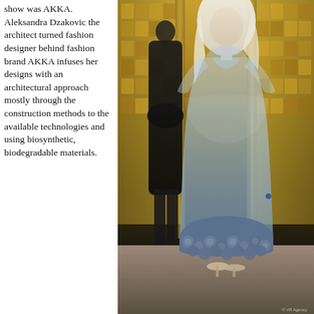show was AKKA. Aleksandra Dzakovic the architect turned fashion designer behind fashion brand AKKA infuses her designs with an architectural approach mostly through the construction methods to the available technologies and using biosynthetic, biodegradable materials.
[Figure (photo): A model wearing a sheer light blue floor-length gown with floral appliqué hem detail, walking on a runway in an ornate gold-mosaic venue. A figure in black is visible in the background left.]
© VR Agency